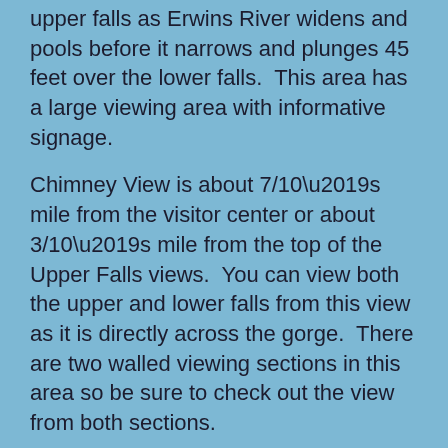upper falls as Erwins River widens and pools before it narrows and plunges 45 feet over the lower falls.  This area has a large viewing area with informative signage.
Chimney View is about 7/10’s mile from the visitor center or about 3/10’s mile from the top of the Upper Falls views.  You can view both the upper and lower falls from this view as it is directly across the gorge.  There are two walled viewing sections in this area so be sure to check out the view from both sections.
Further down Erwins view is The Gorge View which is about 8/10’s mile from the visitors center.  While you can’t view the falls from this view it does offer exceptional views of the gorge...